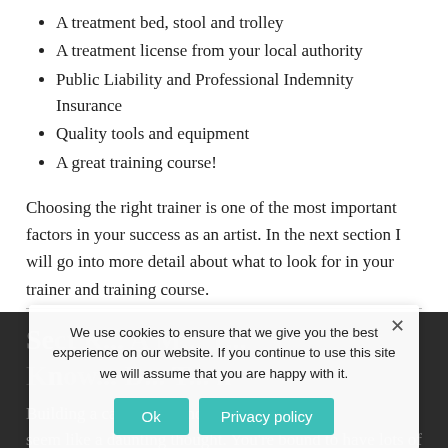A treatment bed, stool and trolley
A treatment license from your local authority
Public Liability and Professional Indemnity Insurance
Quality tools and equipment
A great training course!
Choosing the right trainer is one of the most important factors in your success as an artist.  In the next section I will go into more detail about what to look for in your trainer and training course.
Se... R... A M... T... K... r... D... T... n
Building a career in ... industry may seem like a daunting thought. You're bound to have lots of